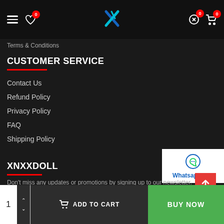Navigation bar with hamburger menu, heart icon (0), logo, return icon (0), cart icon (0)
Terms & Conditions
CUSTOMER SERVICE
Contact Us
Refund Policy
Privacy Policy
FAQ
Shipping Policy
[Figure (other): WhatsApp me widget with phone icon and blue text]
XNXXDOLL
Don't miss any updates or promotions by signing up to our newsletter.
1 | ADD TO CART | BUY NOW